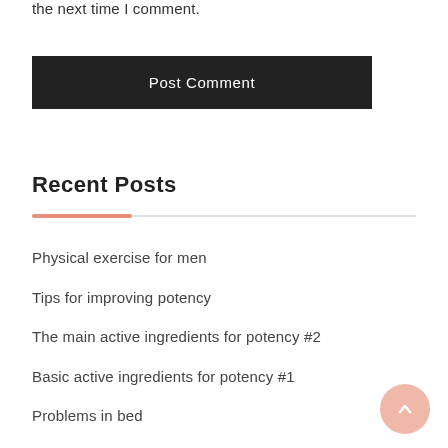the next time I comment.
Post Comment
Recent Posts
Physical exercise for men
Tips for improving potency
The main active ingredients for potency #2
Basic active ingredients for potency #1
Problems in bed